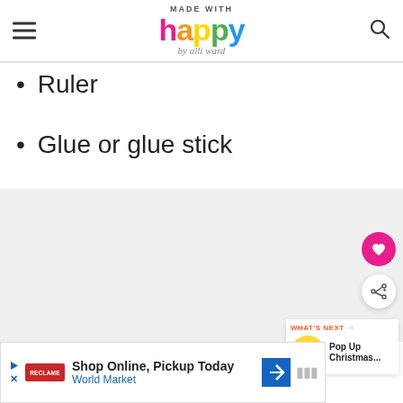Made with Happy by alli ward
Ruler
Glue or glue stick
[Figure (other): Gray content/ad background section with floating heart and share buttons, and a What's Next widget showing Pop Up Christmas...]
[Figure (other): Advertisement banner: Shop Online, Pickup Today - World Market]